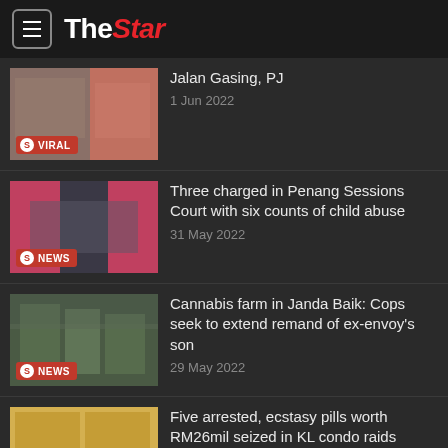The Star
Jalan Gasing, PJ | 1 Jun 2022
Three charged in Penang Sessions Court with six counts of child abuse | 31 May 2022
Cannabis farm in Janda Baik: Cops seek to extend remand of ex-envoy's son | 29 May 2022
Five arrested, ecstasy pills worth RM26mil seized in KL condo raids | 29 May 2022
Cops rescue two children, mother